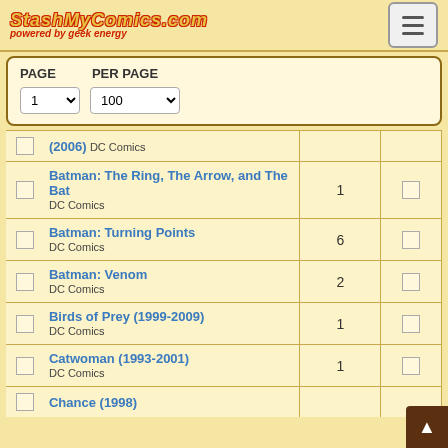StashMyComics.com - powered by geek energy
|  | Title / Publisher | Count |  |
| --- | --- | --- | --- |
|  | (2006) / DC Comics |  |  |
|  | Batman: The Ring, The Arrow, and The Bat / DC Comics | 1 |  |
|  | Batman: Turning Points / DC Comics | 6 |  |
|  | Batman: Venom / DC Comics | 2 |  |
|  | Birds of Prey (1999-2009) / DC Comics | 1 |  |
|  | Catwoman (1993-2001) / DC Comics | 1 |  |
|  | Chance (1998) / DC Comics | 2 |  |